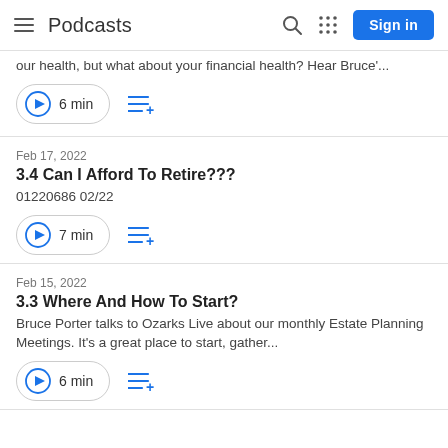Podcasts
our health, but what about your financial health? Hear Bruce'...
▶ 6 min
Feb 17, 2022
3.4 Can I Afford To Retire???
01220686 02/22
▶ 7 min
Feb 15, 2022
3.3 Where And How To Start?
Bruce Porter talks to Ozarks Live about our monthly Estate Planning Meetings. It's a great place to start, gather...
▶ 6 min